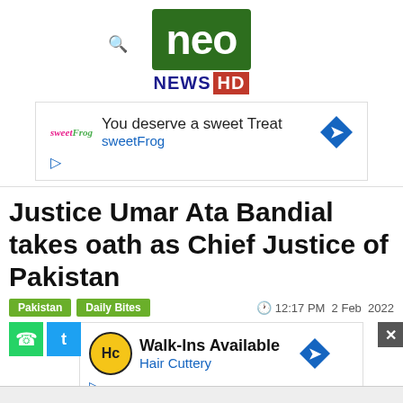[Figure (logo): Neo News HD logo - green background with white 'neo' text and blue NEWS with red HD badge]
[Figure (screenshot): SweetFrog advertisement banner - You deserve a sweet Treat, sweetFrog]
Justice Umar Ata Bandial takes oath as Chief Justice of Pakistan
Pakistan  Daily Bites   12:17 PM  2 Feb  2022
[Figure (screenshot): Hair Cuttery advertisement - Walk-Ins Available, Hair Cuttery]